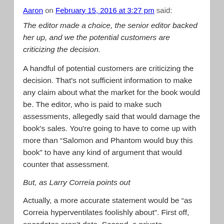Aaron on February 15, 2016 at 3:27 pm said:
The editor made a choice, the senior editor backed her up, and we the potential customers are criticizing the decision.
A handful of potential customers are criticizing the decision. That's not sufficient information to make any claim about what the market for the book would be. The editor, who is paid to make such assessments, allegedly said that would damage the book's sales. You're going to have to come up with more than “Salomon and Phantom would buy this book” to have any kind of argument that would counter that assessment.
But, as Larry Correia points out
Actually, a more accurate statement would be “as Correia hyperventilates foolishly about”. First off, anecdotes aren’t data. Second, a private corporation isn’t in violation of the “spirit of the